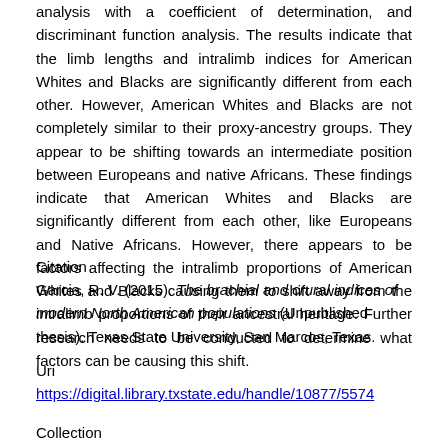analysis with a coefficient of determination, and discriminant function analysis. The results indicate that the limb lengths and intralimb indices for American Whites and Blacks are significantly different from each other. However, American Whites and Blacks are not completely similar to their proxy-ancestry groups. They appear to be shifting towards an intermediate position between Europeans and native Africans. These findings indicate that American Whites and Blacks are significantly different from each other, like Europeans and Native Africans. However, there appears to be factors affecting the intralimb proportions of American Whites and Blacks causing them to shift away from the intralimb proportions of their ancestral heritage. Further research needs to be conducted to determine what factors can be causing this shift.
Citation
Garcia, R. V. (2015). The brachial and crural indices of modern North American populations (Unpublished thesis). Texas State University, San Marcos, Texas.
Uri
https://digital.library.txstate.edu/handle/10877/5574
Collection